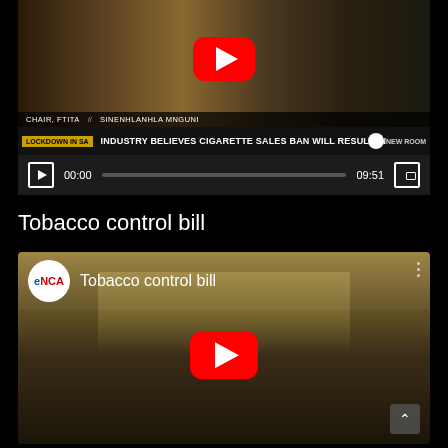[Figure (screenshot): YouTube video player showing a news interview. Lower third reads 'CHAIR, FTITA // SINENHLANHLA MNGUNI'. News ticker says 'LOCKDOWN IN SA' and 'INDUSTRY BELIEVES CIGARETTE SALES BAN WILL RESULT IN'. Video duration 09:51, current time 00:00. NewRoom logo visible.]
Tobacco control bill
[Figure (screenshot): YouTube video thumbnail for eNCA channel showing 'Tobacco control bill'. Two men in suits at a news desk with city skyline background. YouTube play button overlay in center.]